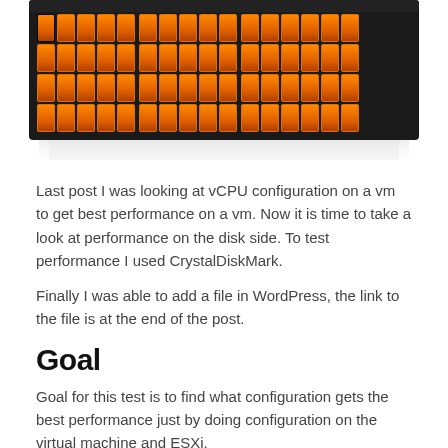[Figure (photo): Front view of a rack-mounted server storage array with orange and black drive bays arranged in a grid pattern]
Last post I was looking at vCPU configuration on a vm to get best performance on a vm. Now it is time to take a look at performance on the disk side. To test performance I used CrystalDiskMark.
Finally I was able to add a file in WordPress, the link to the file is at the end of the post.
Goal
Goal for this test is to find what configuration gets the best performance just by doing configuration on the virtual machine and ESXi.